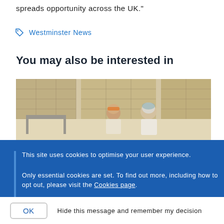spreads opportunity across the UK."
Westminster News
You may also be interested in
[Figure (photo): Two workers in a warehouse or food packing facility surrounded by stacked boxes. One person wears an orange cap and the other wears a blue hairnet and white uniform.]
This site uses cookies to optimise your user experience.
Only essential cookies are set. To find out more, including how to opt out, please visit the Cookies page.
OK  Hide this message and remember my decision